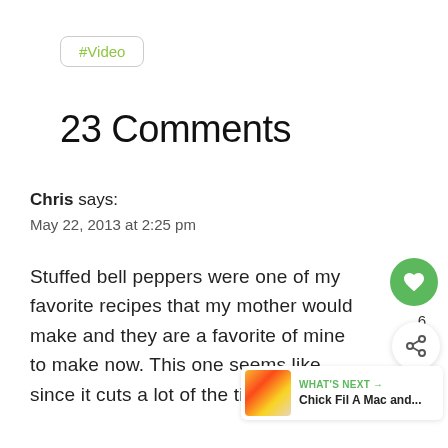#Video
23 Comments
Chris says:
May 22, 2013 at 2:25 pm
Stuffed bell peppers were one of my favorite recipes that my mother would make and they are a favorite of mine to make now. This one seems like since it cuts a lot of the time out from